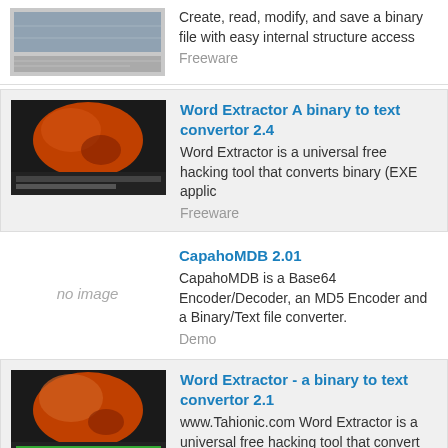Create, read, modify, and save a binary file with easy internal structure access
Freeware
Word Extractor A binary to text convertor 2.4
Word Extractor is a universal free hacking tool that converts binary (EXE applic
Freeware
CapahoMDB 2.01
CapahoMDB is a Base64 Encoder/Decoder, an MD5 Encoder and a Binary/Text file converter.
Demo
Word Extractor - a binary to text convertor 2.1
www.Tahionic.com Word Extractor is a universal free hacking tool that convert
Freeware
Binary Translator 1.0